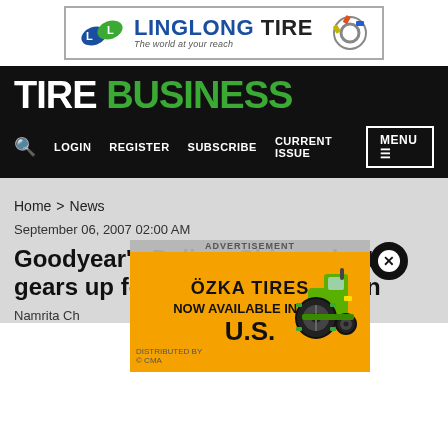[Figure (logo): Linglong Tire advertisement banner — logo with blue/green LL mark, 'LINGLONG TIRE' text, tagline 'The world at your reach', and tire image on right.]
TIRE BUSINESS
LOGIN   REGISTER   SUBSCRIBE   CURRENT ISSUE   MENU
Home > News
September 06, 2007 02:00 AM
Goodyear's Dalian, China, plant gears up for the next generation
Namrita Ch
[Figure (advertisement): ÖZKA TIRES advertisement — orange background, 'ÖZKA TIRES', 'NOW AVAILABLE IN THE U.S.', distributed by CMA logo, tractor image on right side. Has X close button.]